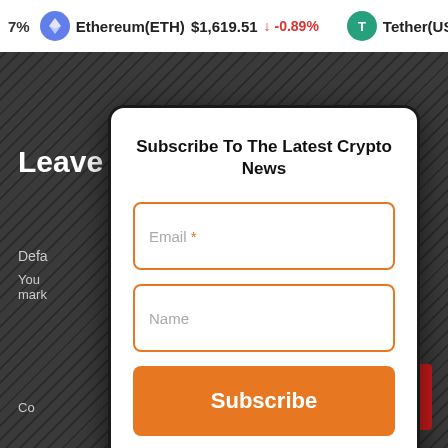7% Ethereum(ETH) $1,619.51 ↓ -0.89% Tether(USDT) $1...
Leave a reply
Subscribe To The Latest Crypto News
Email *
Name
Subscribe
[Figure (screenshot): Subscribe modal with email field, name field, and Subscribe button on a cryptocurrency news website]
English